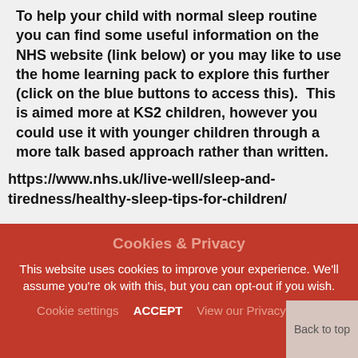To help your child with normal sleep routine you can find some useful information on the NHS website (link below) or you may like to use the home learning pack to explore this further (click on the blue buttons to access this).  This is aimed more at KS2 children, however you could use it with younger children through a more talk based approach rather than written.
https://www.nhs.uk/live-well/sleep-and-tiredness/healthy-sleep-tips-for-children/
Cookies & Privacy
This website uses cookies to improve your experience. We'll assume you're ok with this, but you can opt-out if you wish.
Cookie settings   ACCEPT   View our Privacy Policy
Back to top